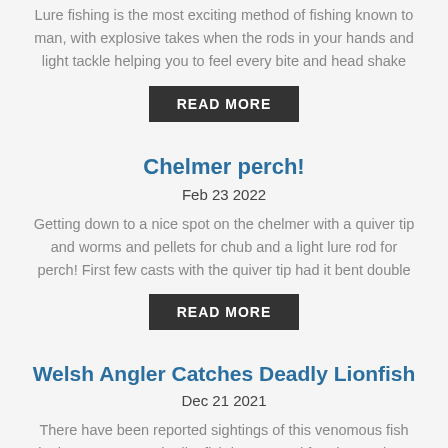Lure fishing is the most exciting method of fishing known to man, with explosive takes when the rods in your hands and light tackle helping you to feel every bite and head shake
READ MORE
Chelmer perch!
Feb 23 2022
Getting down to a nice spot on the chelmer with a quiver tip and worms and pellets for chub and a light lure rod for perch! First few casts with the quiver tip had it bent double
READ MORE
Welsh Angler Catches Deadly Lionfish
Dec 21 2021
There have been reported sightings of this venomous fish in the UK waters. The lionfish has around four long spines